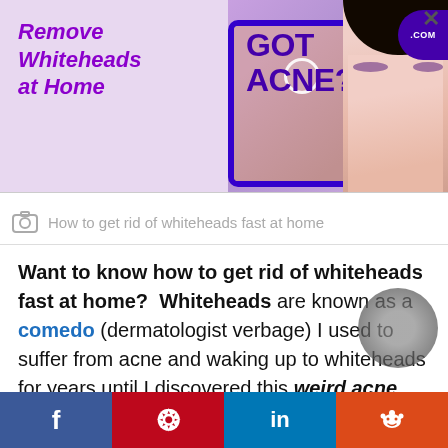[Figure (illustration): Advertisement banner for acne removal product. Left side has purple italic text 'Remove Whiteheads at Home' on lavender background. Center shows a tablet/phone frame with 'GOT ACNE?' text in dark purple and a circle highlight on a face. Right side shows a woman's face with dark hair and makeup.]
How to get rid of whiteheads fast at home
Want to know how to get rid of whiteheads fast at home?  Whiteheads are known as a comedo (dermatologist verbage) I used to suffer from acne and waking up to whiteheads for years until I discovered this weird acne remedy. I'm
[Figure (infographic): Social media share bar at bottom with Facebook (blue), Pinterest (red), LinkedIn (blue), and Reddit (orange) buttons with white icons]